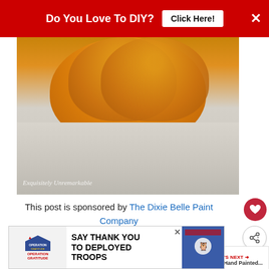[Figure (screenshot): Red advertisement banner at top: 'Do You Love To DIY?' with 'Click Here!' button and X close button]
[Figure (photo): Close-up photo of an orange pumpkin on a white surface with watermark 'Exquisitely Unremarkable']
This post is sponsored by The Dixie Belle Paint Company
[Figure (screenshot): WHAT'S NEXT arrow label with small thumbnail and text 'Easy Hand Painted...']
[Figure (screenshot): Black video player area]
[Figure (screenshot): Bottom advertisement banner: Operation Gratitude 'SAY THANK YOU TO DEPLOYED TROOPS']